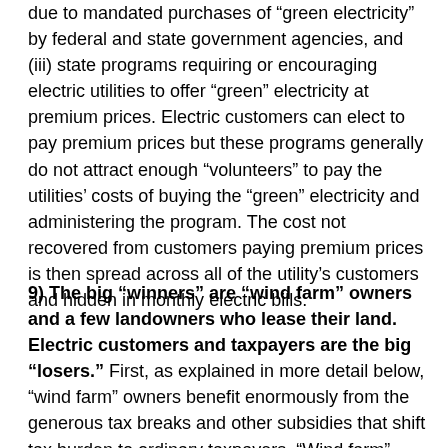due to mandated purchases of “green electricity” by federal and state government agencies, and (iii) state programs requiring or encouraging electric utilities to offer “green” electricity at premium prices. Electric customers can elect to pay premium prices but these programs generally do not attract enough “volunteers” to pay the utilities’ costs of buying the “green” electricity and administering the program. The cost not recovered from customers paying premium prices is then spread across all of the utility’s customers and hidden in monthly electric bills.
9) The big “winners” are “wind farm” owners and a few landowners who lease their land. Electric customers and taxpayers are the big “losers.” First, as explained in more detail below, “wind farm” owners benefit enormously from the generous tax breaks and other subsidies that shift tax burden to ordinary taxpayers. “Wind farm” owners also benefit from the revenue from the sale of electricity while shifting costs (e.g., backup generation and transmission costs) to electric